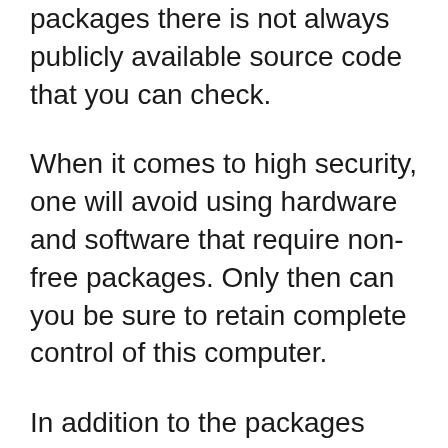packages there is not always publicly available source code that you can check.
When it comes to high security, one will avoid using hardware and software that require non-free packages. Only then can you be sure to retain complete control of this computer.
In addition to the packages from “non-free” there are other foreign sources. In doing so, one has to check the trustworthiness of the source or question its necessity. Installing packages from external sources can damage the system, cause conflicts, and self-action